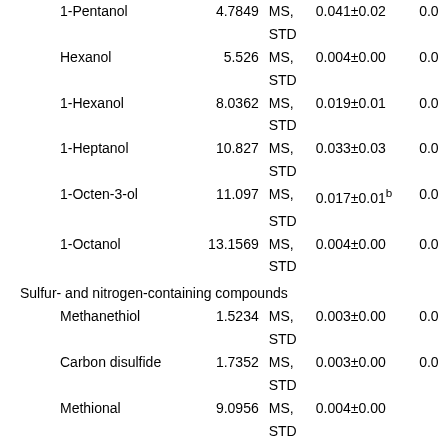| Compound | RT | ID | Value | Extra |
| --- | --- | --- | --- | --- |
| 1-Pentanol | 4.7849 | MS, STD | 0.041±0.02 | 0.0 |
| Hexanol | 5.526 | MS, STD | 0.004±0.00 | 0.0 |
| 1-Hexanol | 8.0362 | MS, STD | 0.019±0.01 | 0.0 |
| 1-Heptanol | 10.827 | MS, STD | 0.033±0.03 | 0.0 |
| 1-Octen-3-ol | 11.097 | MS, STD | 0.017±0.01b | 0.0 |
| 1-Octanol | 13.1569 | MS, STD | 0.004±0.00 | 0.0 |
| Sulfur- and nitrogen-containing compounds |  |  |  |  |
| Methanethiol | 1.5234 | MS, STD | 0.003±0.00 | 0.0 |
| Carbon disulfide | 1.7352 | MS, STD | 0.003±0.00 | 0.0 |
| Methional | 9.0956 | MS, STD | 0.004±0.00 |  |
| Benzothiazole | 16.297 | MS, | nd | 0.0 |